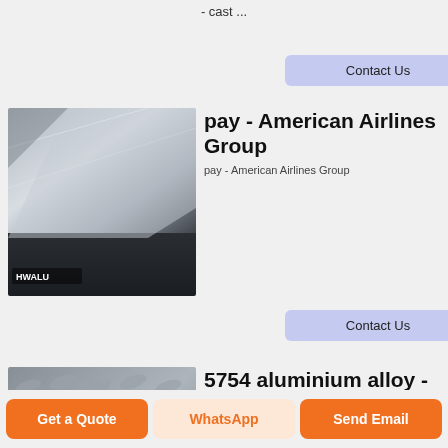- cast ...
Contact Us
[Figure (photo): Aluminum sheet metal product photo with HWALU logo]
pay - American Airlines Group
pay - American Airlines Group
Contact Us
[Figure (photo): Aluminum diamond/checker plate product photo with HWALU logo]
5754 aluminium alloy - Wikipedia
5754 aluminium alloy is an alloy in the wrought aluminium - magnesium family (5000 or 5xxx ...
Get a Quote
WhatsApp
Send Email